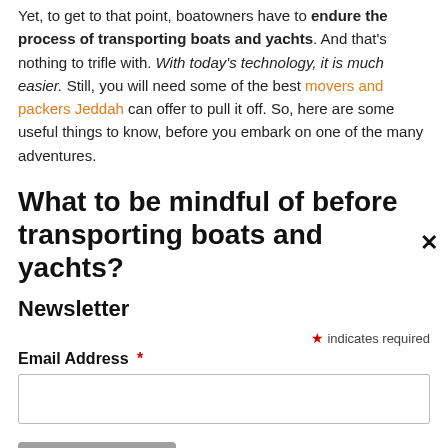Yet, to get to that point, boatowners have to endure the process of transporting boats and yachts. And that's nothing to trifle with. With today's technology, it is much easier. Still, you will need some of the best movers and packers Jeddah can offer to pull it off. So, here are some useful things to know, before you embark on one of the many adventures.
What to be mindful of before transporting boats and yachts?
Newsletter
* indicates required
Email Address *
Subscribe